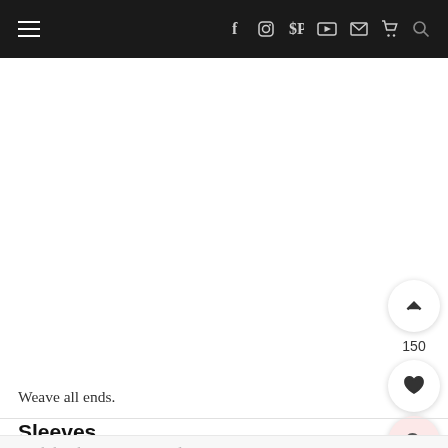Navigation bar with hamburger menu, social icons (Facebook, Instagram, Pinterest, YouTube, Email, Cart), and Search
Weave all ends.
Sleeves
With hook size 6 mm and Katia Merino Aran, join yarn to first sc